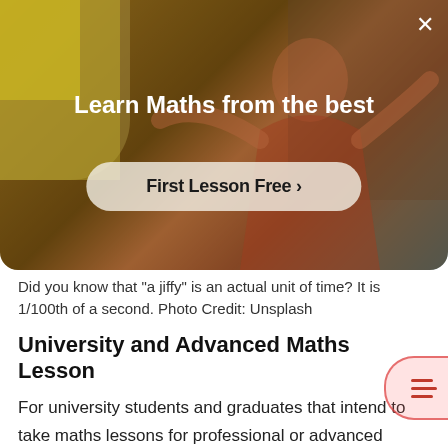[Figure (photo): A teacher or instructor at a chalkboard/whiteboard, warm toned background with overlay. Contains promotional text overlay 'Learn Maths from the best' and a call-to-action button 'First Lesson Free >']
Did you know that "a jiffy" is an actual unit of time? It is 1/100th of a second. Photo Credit: Unsplash
University and Advanced Maths Lesson
For university students and graduates that intend to take maths lessons for professional or advanced educational purposes, Ibadan offers tutorial